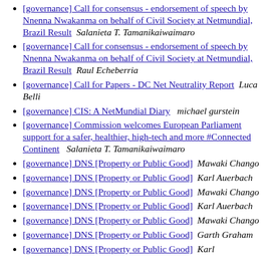[governance] Call for consensus - endorsement of speech by Nnenna Nwakanma on behalf of Civil Society at Netmundial, Brazil Result  Salanieta T. Tamanikaiwaimaro
[governance] Call for consensus - endorsement of speech by Nnenna Nwakanma on behalf of Civil Society at Netmundial, Brazil Result  Raul Echeberria
[governance] Call for Papers - DC Net Neutrality Report  Luca Belli
[governance] CIS: A NetMundial Diary  michael gurstein
[governance] Commission welcomes European Parliament support for a safer, healthier, high-tech and more #Connected Continent  Salanieta T. Tamanikaiwaimaro
[governance] DNS [Property or Public Good]  Mawaki Chango
[governance] DNS [Property or Public Good]  Karl Auerbach
[governance] DNS [Property or Public Good]  Mawaki Chango
[governance] DNS [Property or Public Good]  Karl Auerbach
[governance] DNS [Property or Public Good]  Mawaki Chango
[governance] DNS [Property or Public Good]  Garth Graham
[governance] DNS [Property or Public Good]  Karl